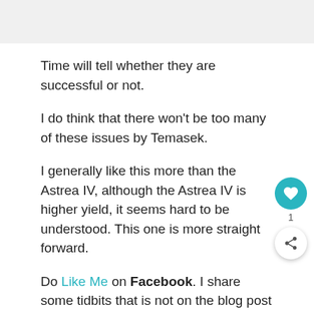Time will tell whether they are successful or not.
I do think that there won't be too many of these issues by Temasek.
I generally like this more than the Astrea IV, although the Astrea IV is higher yield, it seems hard to be understood. This one is more straight forward.
Do Like Me on Facebook. I share some tidbits that is not on the blog post there often